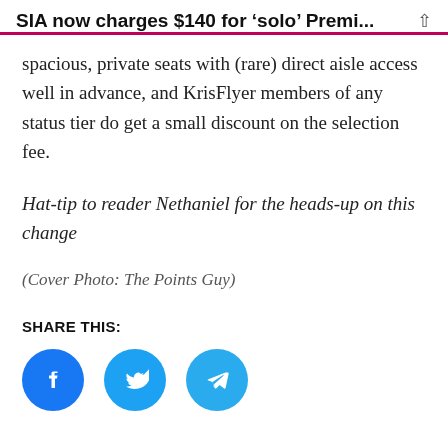SIA now charges $140 for ‘solo’ Premi...
spacious, private seats with (rare) direct aisle access well in advance, and KrisFlyer members of any status tier do get a small discount on the selection fee.
Hat-tip to reader Nethaniel for the heads-up on this change
(Cover Photo: The Points Guy)
SHARE THIS:
[Figure (other): Three circular social media share buttons: Facebook (blue), Twitter (cyan), Telegram (light blue)]